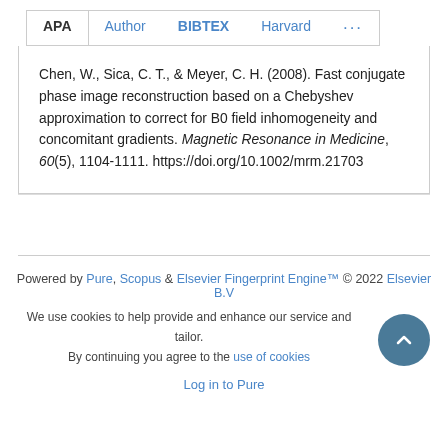APA  Author  BIBTEX  Harvard  ...
Chen, W., Sica, C. T., & Meyer, C. H. (2008). Fast conjugate phase image reconstruction based on a Chebyshev approximation to correct for B0 field inhomogeneity and concomitant gradients. Magnetic Resonance in Medicine, 60(5), 1104-1111. https://doi.org/10.1002/mrm.21703
Powered by Pure, Scopus & Elsevier Fingerprint Engine™ © 2022 Elsevier B.V
We use cookies to help provide and enhance our service and tailor. By continuing you agree to the use of cookies
Log in to Pure